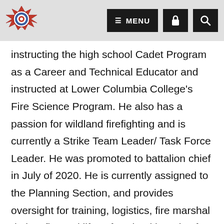MENU [navigation bar with logo, menu, lock, and search icons]
instructing the high school Cadet Program as a Career and Technical Educator and instructed at Lower Columbia College’s Fire Science Program. He also has a passion for wildland firefighting and is currently a Strike Team Leader/ Task Force Leader. He was promoted to battalion chief in July of 2020. He is currently assigned to the Planning Section, and provides oversight for training, logistics, fire marshal duties, fire and life safety, health and safety and volunteer coordination.
He also volunteers as a White Pass Ski Patrol Responding members, collecting time and the raising